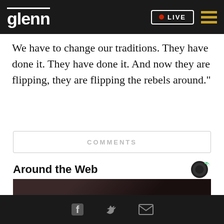glenn | LIVE
We have to change our traditions. They have done it. They have done it. And now they are flipping, they are flipping the rebels around."
COMMENTS
Around the Web
[Figure (photo): Photo showing a person in dark clothing, partially visible]
Social media icons: Facebook, Twitter, Email